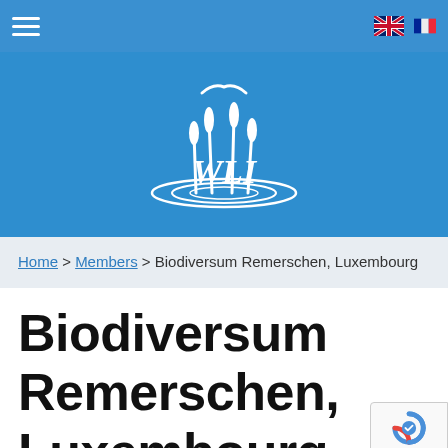Navigation bar with hamburger menu and language flags (UK, France)
[Figure (logo): WLI logo — white stylized bird and reeds above water ripples on blue background]
Home > Members > Biodiversum Remerschen, Luxembourg
Biodiversum Remerschen, Luxembourg